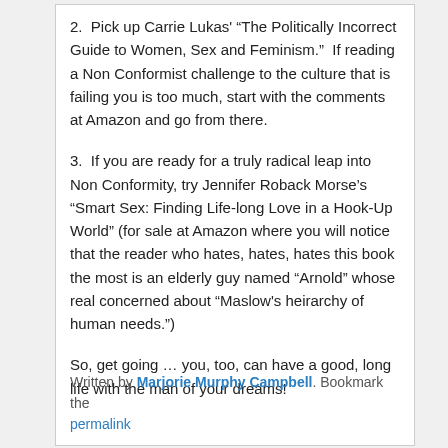2.  Pick up Carrie Lukas' “The Politically Incorrect Guide to Women, Sex and Feminism.”  If reading a Non Conformist challenge to the culture that is failing you is too much, start with the comments at Amazon and go from there.
3.  If you are ready for a truly radical leap into Non Conformity, try Jennifer Roback Morse’s “Smart Sex: Finding Life-long Love in a Hook-Up World” (for sale at Amazon where you will notice that the reader who hates, hates, hates this book the most is an elderly guy named “Arnold” whose real concerned about “Maslow’s heirarchy of human needs.”)
So, get going … you, too, can have a good, long life with the man of your dreams!
Written by Marjorie Murphy Campbell. Bookmark the permalink.